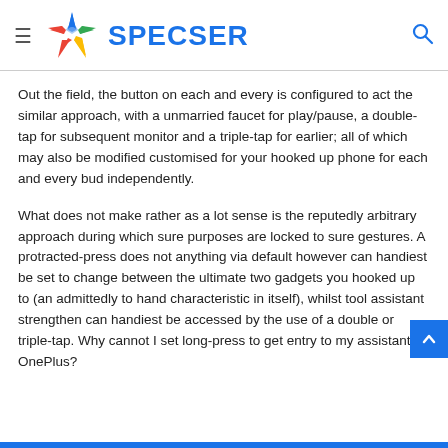SPECSER
Out the field, the button on each and every is configured to act the similar approach, with a unmarried faucet for play/pause, a double-tap for subsequent monitor and a triple-tap for earlier; all of which may also be modified customised for your hooked up phone for each and every bud independently.
What does not make rather as a lot sense is the reputedly arbitrary approach during which sure purposes are locked to sure gestures. A protracted-press does not anything via default however can handiest be set to change between the ultimate two gadgets you hooked up to (an admittedly to hand characteristic in itself), whilst tool assistant strengthen can handiest be accessed by the use of a double or triple-tap. Why cannot I set long-press to get entry to my assistant, OnePlus?